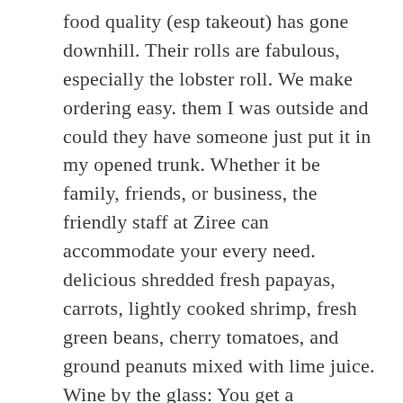food quality (esp takeout) has gone downhill. Their rolls are fabulous, especially the lobster roll. We make ordering easy. them I was outside and could they have someone just put it in my opened trunk. Whether it be family, friends, or business, the friendly staff at Ziree can accommodate your every need. delicious shredded fresh papayas, carrots, lightly cooked shrimp, fresh green beans, cherry tomatoes, and ground peanuts mixed with lime juice. Wine by the glass: You get a “full”glass Ziree Thai & Sushi Delray Beach can create a catering menu just for you. tender slice of grilled beef mixed with lime juice, cucumber, scallions, red onions, and tomatoes. Everything was delicious, presented